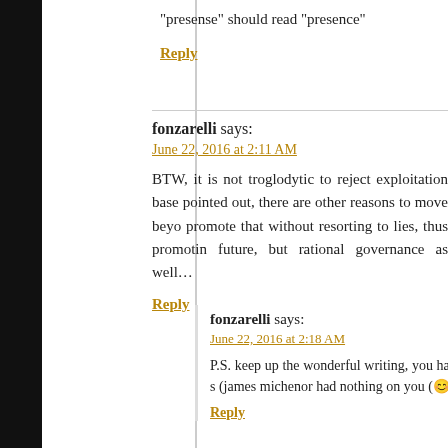“presense” should read “presence”
Reply
fonzarelli says:
June 22, 2016 at 2:11 AM
BTW, it is not troglodytic to reject exploitation base pointed out, there are other reasons to move beyo promote that without resorting to lies, thus promotin future, but rational governance as well…
Reply
fonzarelli says:
June 22, 2016 at 2:18 AM
P.S. keep up the wonderful writing, you have s (james michenor had nothing on you (😊))
Reply